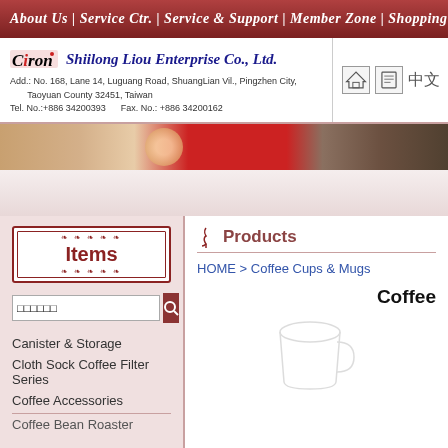About Us | Service Ctr. | Service & Support | Member Zone | Shopping
[Figure (logo): Ciron logo with Shiilong Liou Enterprise Co., Ltd. company header including address and contact info]
Add.: No. 168, Lane 14, Luguang Road, ShuangLian Vil., Pingzhen City, Taoyuan County 32451, Taiwan
Tel. No.:+886 34200393    Fax. No.: +886 34200162
[Figure (photo): Banner with coffee-related background image, warm tones with red section]
[Figure (illustration): Items decorative box with search field in left sidebar]
Canister & Storage
Cloth Sock Coffee Filter Series
Coffee Accessories
Coffee Bean Roaster
Products
HOME > Coffee Cups & Mugs
Coffee